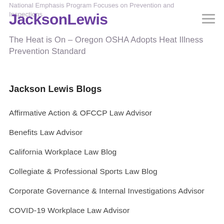National Emphasis Program Focuses on Prevention and Inspections
JacksonLewis
The Heat is On – Oregon OSHA Adopts Heat Illness Prevention Standard
Jackson Lewis Blogs
Affirmative Action & OFCCP Law Advisor
Benefits Law Advisor
California Workplace Law Blog
Collegiate & Professional Sports Law Blog
Corporate Governance & Internal Investigations Advisor
COVID-19 Workplace Law Advisor
Disability, Leave & Health Management Blog